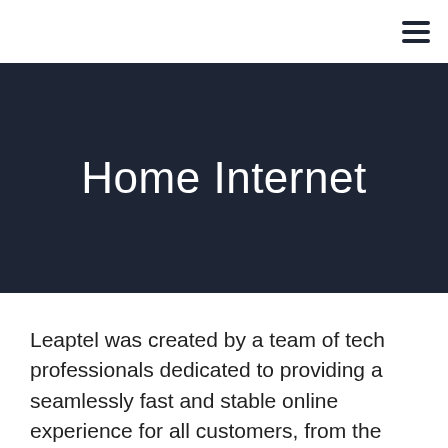≡
Home Internet
Leaptel was created by a team of tech professionals dedicated to providing a seamlessly fast and stable online experience for all customers, from the absolute beginner